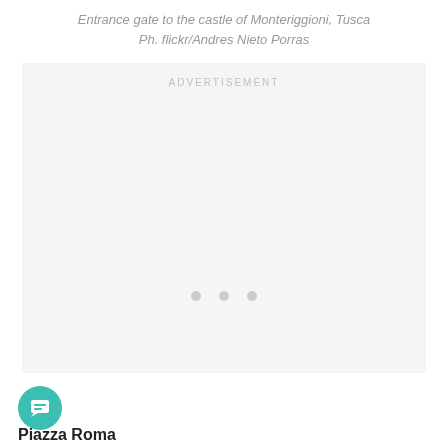Entrance gate to the castle of Monteriggioni, Tusca
Ph. flickr/Andres Nieto Porras
[Figure (other): Advertisement placeholder box with loading dots and ADVERTISEMENT label]
[Figure (other): Teal circular chat/message button icon]
Piazza Roma